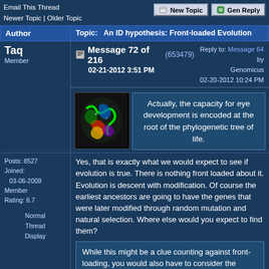Email This Thread
Newer Topic | Older Topic
| Author | Topic: An ID hypothesis: Front-loaded Evolution |
| --- | --- |
| Taq
Member | Message 72 of 216 (653479)
02-21-2012 3:51 PM | Reply to: Message 64 by Genomicus
02-20-2012 10:24 PM |
| Posts: 8527
Joined: 03-06-2009
Member
Rating: 6.7

Normal
Thread
Display | Actually, the capacity for eye development is encoded at the root of the phylogenetic tree of life.

Yes, that is exactly what we would expect to see if evolution is true. There is nothing front loaded about it. Evolution is descent with modification. Of course the earliest ancestors are going to have the genes that were later modified through random mutation and natural selection. Where else would you expect to find them?

While this might be a clue counting against front-loading, you would also have to consider the evidence favoring the idea that animals were front-loaded |